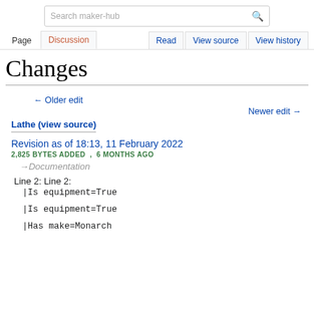Search maker-hub | Page | Discussion | Read | View source | View history
Changes
← Older edit
Newer edit →
Lathe (view source)
Revision as of 18:13, 11 February 2022
2,825 BYTES ADDED ,  6 MONTHS AGO
→Documentation
Line 2: Line 2:
|Is equipment=True
|Is equipment=True
|Has make=Monarch